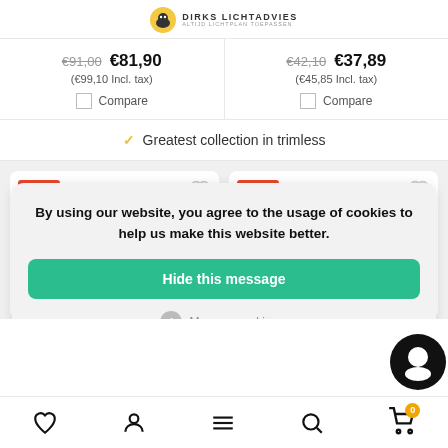DIRKS LICHTADVIES — ALTIJD LICHTPLAN TOEPASSEN
€91,00  €81,90  (€99,10 Incl. tax)  Compare
€42,10  €37,89  (€45,85 Incl. tax)  Compare
Greatest collection in trimless
-10%
-10%
By using our website, you agree to the usage of cookies to help us make this website better.
Hide this message
More on cookies »
Navigation bar with heart, user, menu, search, cart icons